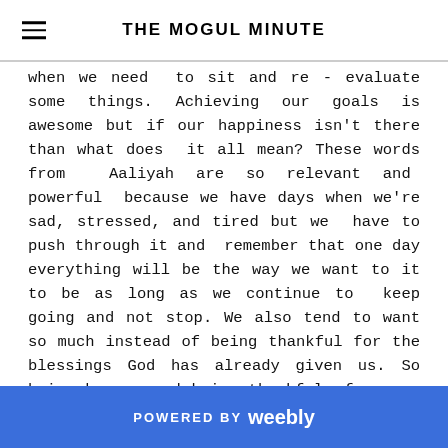THE MOGUL MINUTE
when we need to sit and re - evaluate some things. Achieving our goals is awesome but if our happiness isn't there than what does it all mean? These words from Aaliyah are so relevant and powerful because we have days when we're sad, stressed, and tired but we have to push through it and remember that one day everything will be the way we want to it to be as long as we continue to keep going and not stop. We also tend to want so much instead of being thankful for the blessings God has already given us. So being happy and being thankful for your blessings is a must. Loving our family and having good friends is so important. Its okay to go hard by ourselves but having a support system is love is also something to be thankful for.
POWERED BY weebly